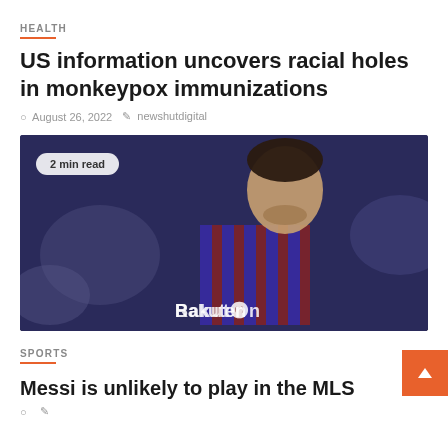HEALTH
US information uncovers racial holes in monkeypox immunizations
August 26, 2022   newshutdigital
[Figure (photo): A soccer player (Lionel Messi) in a FC Barcelona blue and red striped jersey with Rakuten sponsor, shown from torso up against a blurred crowd background. A '2 min read' badge overlays the top-left.]
SPORTS
Messi is unlikely to play in the MLS